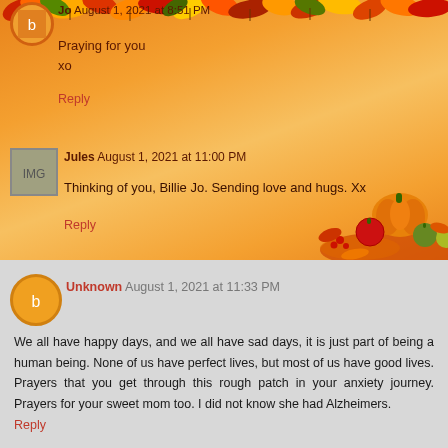Jo  August 1, 2021 at 8:51 PM
Praying for you
xo
Reply
Jules  August 1, 2021 at 11:00 PM
Thinking of you, Billie Jo. Sending love and hugs. Xx
Reply
Unknown  August 1, 2021 at 11:33 PM
We all have happy days, and we all have sad days, it is just part of being a human being. None of us have perfect lives, but most of us have good lives. Prayers that you get through this rough patch in your anxiety journey. Prayers for your sweet mom too. I did not know she had Alzheimers.
Reply